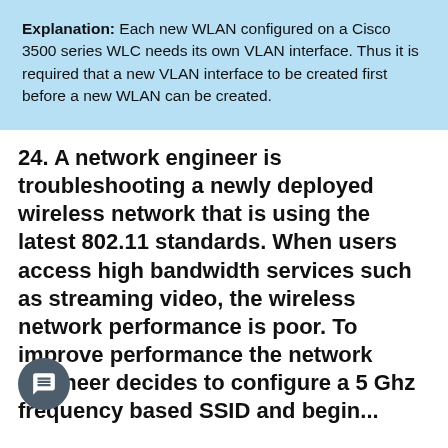Explanation: Each new WLAN configured on a Cisco 3500 series WLC needs its own VLAN interface. Thus it is required that a new VLAN interface to be created first before a new WLAN can be created.
24. A network engineer is troubleshooting a newly deployed wireless network that is using the latest 802.11 standards. When users access high bandwidth services such as streaming video, the wireless network performance is poor. To improve performance the network engineer decides to configure a 5 Ghz frequency based SSID and begin...